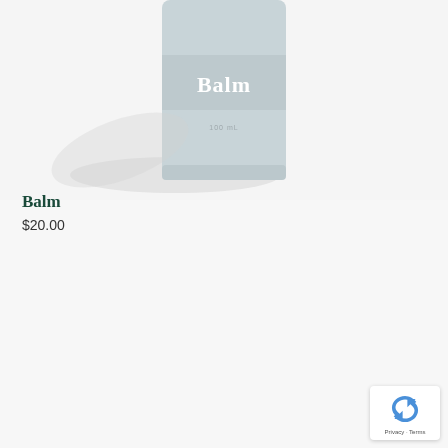[Figure (photo): A cylindrical light blue/grey balm container with white bold text reading 'Balm' on the front, photographed against a light grey-white background with a soft shadow cast to the left. The container is cut off at the top and bottom of the image.]
Balm
$20.00